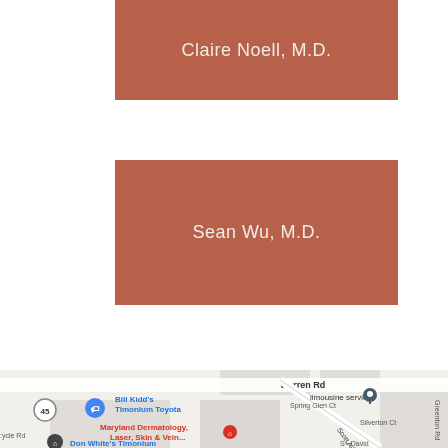Claire Noell, M.D.
Sean Wu, M.D.
[Figure (map): Google Maps screenshot showing the area around Maryland Dermatology, Laser, Skin & Vein... near Warren Rd, Spring Glen Ct, Scott Adam Rd, Silverton Ct, with Bill Kidd's Timonium Toyota, limousine service marker, Don White's Timonium, and route 45 visible.]